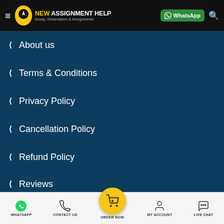NEW ASSIGNMENT HELP — Essay, Dissertation & Assignments | WhatsApp
About us
Terms & Conditions
Privacy Policy
Cancellation Policy
Refund Policy
Reviews
Contact Us
SiteMap
Sample SiteMap
Get Free Turnitin Report
Blog
WHATSAPP | CONTACT US | ORDER NOW | MY ACCOUNT | LIVE CHAT